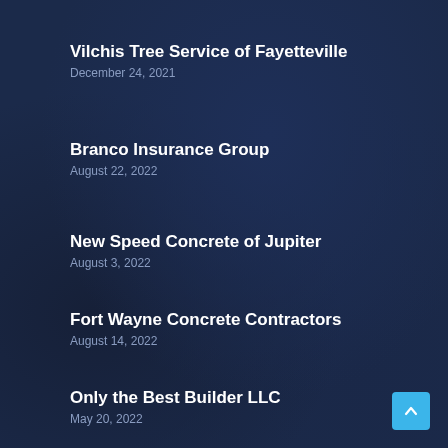Vilchis Tree Service of Fayetteville
December 24, 2021
Branco Insurance Group
August 22, 2022
New Speed Concrete of Jupiter
August 3, 2022
Fort Wayne Concrete Contractors
August 14, 2022
Only the Best Builder LLC
May 20, 2022